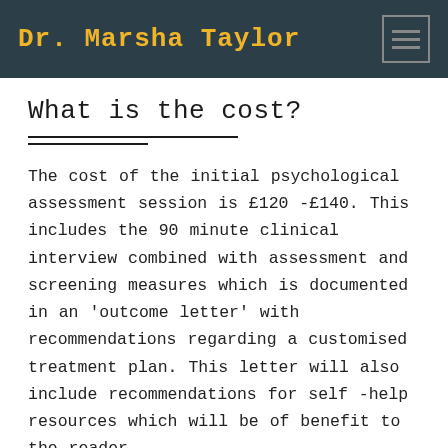Dr. Marsha Taylor
What is the cost?
The cost of the initial psychological assessment session is £120 -£140. This includes the 90 minute clinical interview combined with assessment and screening measures which is documented in an 'outcome letter' with recommendations regarding a customised treatment plan. This letter will also include recommendations for self -help resources which will be of benefit to the reader